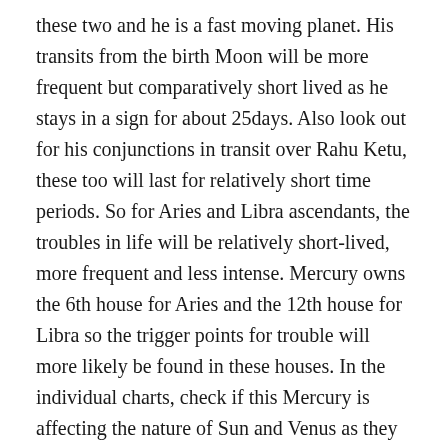these two and he is a fast moving planet. His transits from the birth Moon will be more frequent but comparatively short lived as he stays in a sign for about 25days. Also look out for his conjunctions in transit over Rahu Ketu, these too will last for relatively short time periods. So for Aries and Libra ascendants, the troubles in life will be relatively short-lived, more frequent and less intense. Mercury owns the 6th house for Aries and the 12th house for Libra so the trigger points for trouble will more likely be found in these houses. In the individual charts, check if this Mercury is affecting the nature of Sun and Venus as they are generally found near each other.
Scorpio – Here Venus is the only functional malefic and he too moves at a relatively good speed of about 28days per sign. So you can apply a similar logic about